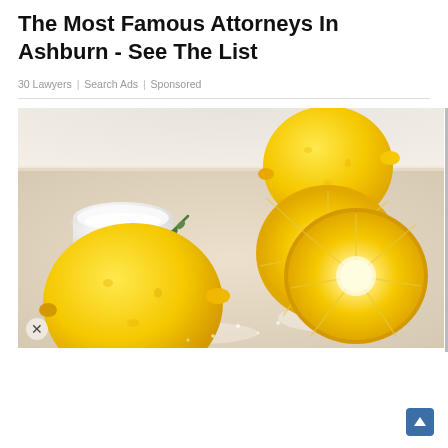The Most Famous Attorneys In Ashburn - See The List
30 Lawyers | Search Ads | Sponsored
[Figure (photo): Photo of lemons and lemon slices on a wooden board with a white bowl of powder and a sprig of rosemary. One whole lemon top right, two sliced lemons in the middle right, one whole lemon bottom left, with white powder/salt scattered on the board.]